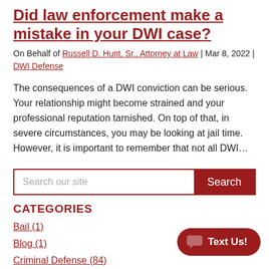Did law enforcement make a mistake in your DWI case?
On Behalf of Russell D. Hunt, Sr., Attorney at Law | Mar 8, 2022 | DWI Defense
The consequences of a DWI conviction can be serious. Your relationship might become strained and your professional reputation tarnished. On top of that, in severe circumstances, you may be looking at jail time. However, it is important to remember that not all DWI…
[Figure (other): Search bar with text input 'Search our site' and a dark red 'Search' button]
CATEGORIES
Bail (1)
Blog (1)
Criminal Defense (84)
Criminal Justice Reform (1)